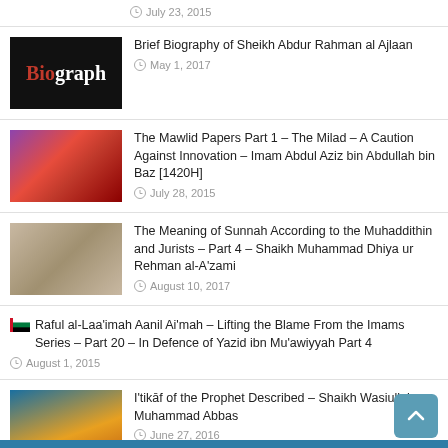July 23, 2015
Brief Biography of Sheikh Abdur Rahman al Ajlaan
May 1, 2017
The Mawlid Papers Part 1 – The Milad – A Caution Against Innovation – Imam Abdul Aziz bin Abdullah bin Baz [1420H]
July 28, 2015
The Meaning of Sunnah According to the Muhaddithin and Jurists – Part 4 – Shaikh Muhammad Dhiya ur Rehman al-A'zami
August 10, 2017
Raful al-Laa'imah Aanil Ai'mah – Lifting the Blame From the Imams Series – Part 20 – In Defence of Yazid ibn Mu'awiyyah Part 4
August 1, 2015
I'tikāf of the Prophet Described – Shaikh Wasiullah Muhammad Abbas
June 27, 2016